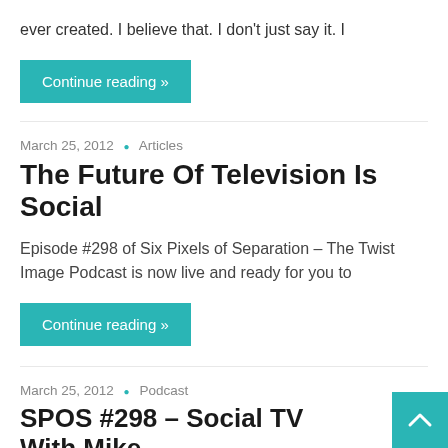ever created. I believe that. I don't just say it. I
Continue reading »
March 25, 2012 • Articles
The Future Of Television Is Social
Episode #298 of Six Pixels of Separation – The Twist Image Podcast is now live and ready for you to
Continue reading »
March 25, 2012 • Podcast
SPOS #298 – Social TV With Mike Prokly And Stacey Shenatin